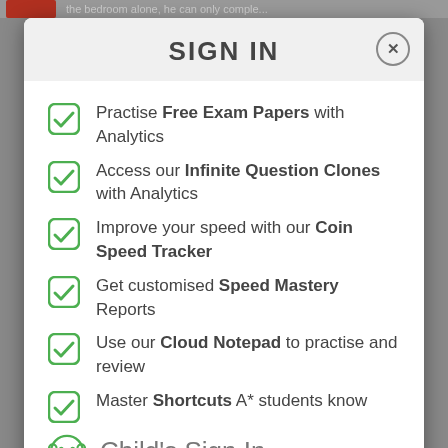SIGN IN
Practise Free Exam Papers with Analytics
Access our Infinite Question Clones with Analytics
Improve your speed with our Coin Speed Tracker
Get customised Speed Mastery Reports
Use our Cloud Notepad to practise and review
Master Shortcuts A* students know
Child's Sign In